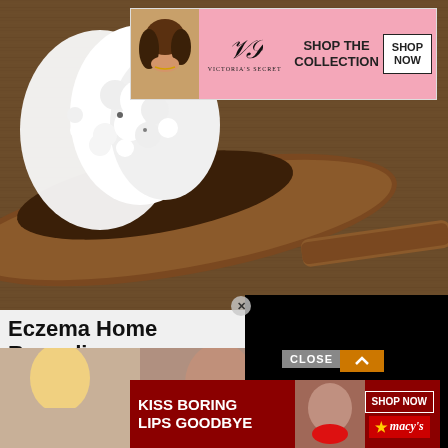[Figure (photo): Victoria's Secret advertisement banner with model, VS logo, 'SHOP THE COLLECTION' text and 'SHOP NOW' button on pink background]
[Figure (photo): Close-up photo of kefir grains on a wooden spoon against a rustic wooden background]
[Figure (screenshot): Black video player overlay in lower right portion of the food photo]
Eczema Home Remedies Not Know
Eczema Remedies | Sponsored
[Figure (photo): Bottom advertisement area with blonde model background, CLOSE button, and Macy's 'KISS BORING LIPS GOODBYE' banner with SHOP NOW button]